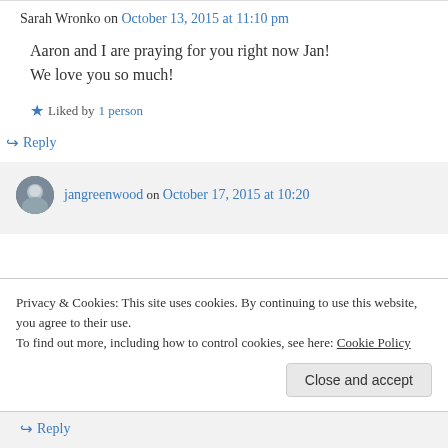Sarah Wronko on October 13, 2015 at 11:10 pm
Aaron and I are praying for you right now Jan! We love you so much!
Liked by 1 person
Reply
jangreenwood on October 17, 2015 at 10:20
Privacy & Cookies: This site uses cookies. By continuing to use this website, you agree to their use.
To find out more, including how to control cookies, see here: Cookie Policy
Close and accept
Reply